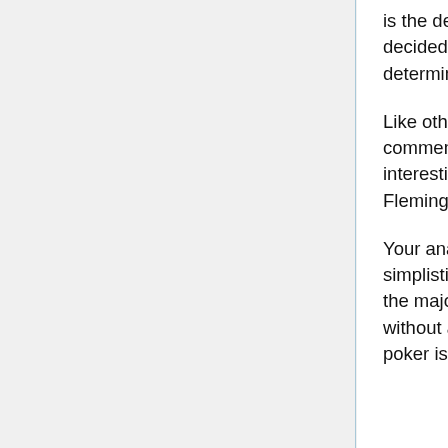is the decisions they made. The fact they decided to fold indicates it was decisions that determined the hand.
Like other Blogs, Bailick invites readers to comment on these arguments. Particularly interesting comments were made by Patrick Fleming who writes:
Your analysis of the Cigital study is much too simplistic. Mr. Hope is not saying that because the majority of poker hands are resolved without a showdown that ALONE means poker is a game of skill. What is